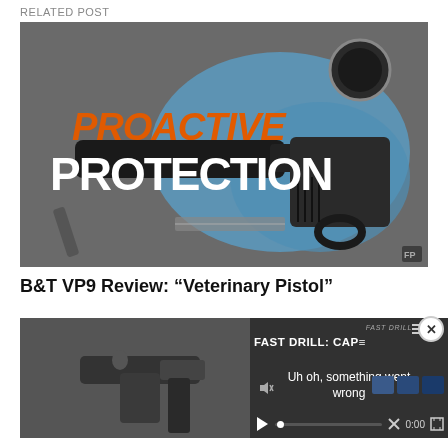RELATED POST
[Figure (photo): Promotional image with text 'PROACTIVE PROTECTION' in orange and white bold letters overlaid on a photo of a suppressed pistol on a blue cloth with a watch and razor blade on a gray surface.]
B&T VP9 Review: “Veterinary Pistol”
[Figure (photo): Black and white photo of a pistol with a magazine beside it.]
[Figure (screenshot): Video player overlay showing 'FAST DRILL: CAP' title and error message 'Uh oh, something went wrong' with playback controls showing 0:00.]